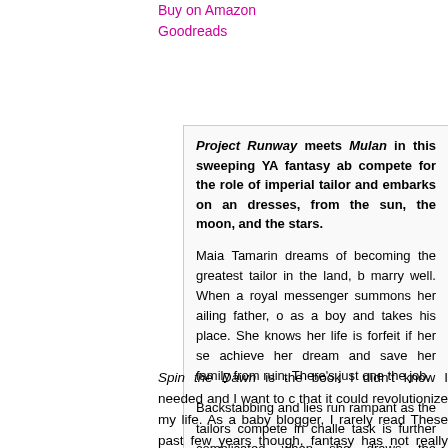Buy on Amazon
Goodreads
Project Runway meets Mulan in this sweeping YA fantasy ab… compete for the role of imperial tailor and embarks on an… dresses, from the sun, the moon, and the stars.
Maia Tamarin dreams of becoming the greatest tailor in the land, b… marry well. When a royal messenger summons her ailing father, o… as a boy and takes his place. She knows her life is forfeit if her se… achieve her dream and save her family from ruin. There's just one… the job.
Backstabbing and lies run rampant as the tailors compete in challe… task is further complicated when she draws the attention of the c… seem to see straight through her disguise.
And nothing could have prepared her for the final challenge: to… reluctant bride-to-be, from the laughter of the sun, the tears of th… impossible task before her, she embarks on a journey to the far re… moon, and the stars, and finding more than she ever could have ima…
Spin the Dawn is the book I didn't know I needed and I want to c… that it could revolutionize my life. As a baby blogger, I rarely read… These past few years though, fantasy has not really been holdin…